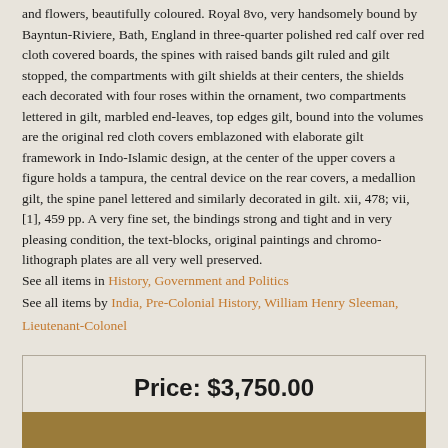and flowers, beautifully coloured. Royal 8vo, very handsomely bound by Bayntun-Riviere, Bath, England in three-quarter polished red calf over red cloth covered boards, the spines with raised bands gilt ruled and gilt stopped, the compartments with gilt shields at their centers, the shields each decorated with four roses within the ornament, two compartments lettered in gilt, marbled end-leaves, top edges gilt, bound into the volumes are the original red cloth covers emblazoned with elaborate gilt framework in Indo-Islamic design, at the center of the upper covers a figure holds a tampura, the central device on the rear covers, a medallion gilt, the spine panel lettered and similarly decorated in gilt. xii, 478; vii, [1], 459 pp. A very fine set, the bindings strong and tight and in very pleasing condition, the text-blocks, original paintings and chromo-lithograph plates are all very well preserved.
See all items in History, Government and Politics
See all items by India, Pre-Colonial History, William Henry Sleeman, Lieutenant-Colonel
Price: $3,750.00